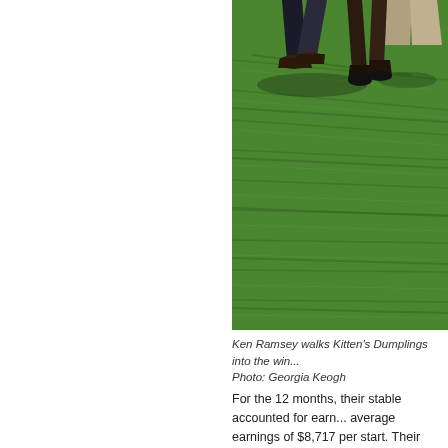[Figure (photo): A person in dark pants and shoes walks a horse on green grass, showing only legs of the person and the horse's legs. Upper portion cropped.]
Ken Ramsey walks Kitten's Dumplings into the win... Photo: Georgia Keogh
For the 12 months, their stable accounted for earn... average earnings of $8,717 per start. Their horses... of the time.